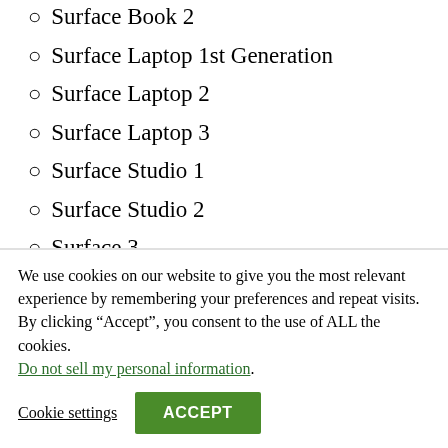Surface Book 2
Surface Laptop 1st Generation
Surface Laptop 2
Surface Laptop 3
Surface Studio 1
Surface Studio 2
Surface 3
You can find the pen in the following Amazon links:-
We use cookies on our website to give you the most relevant experience by remembering your preferences and repeat visits. By clicking “Accept”, you consent to the use of ALL the cookies. Do not sell my personal information.
Cookie settings  ACCEPT